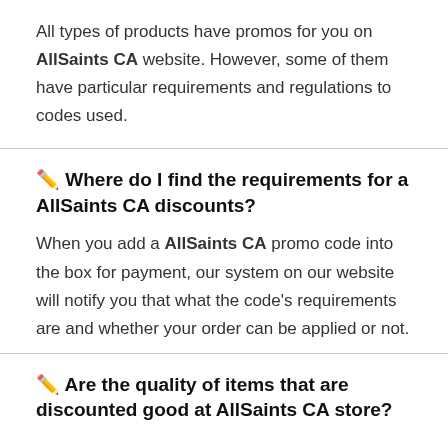All types of products have promos for you on AllSaints CA website. However, some of them have particular requirements and regulations to codes used.
✏️ Where do I find the requirements for a AllSaints CA discounts?
When you add a AllSaints CA promo code into the box for payment, our system on our website will notify you that what the code's requirements are and whether your order can be applied or not.
✏️ Are the quality of items that are discounted good at AllSaints CA store?